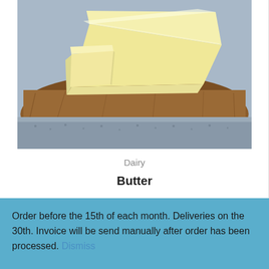[Figure (photo): Close-up photo of butter slices on a wooden cutting board with a blue cloth underneath]
Dairy
Butter
Order before the 15th of each month. Deliveries on the 30th. Invoice will be send manually after order has been processed. Dismiss